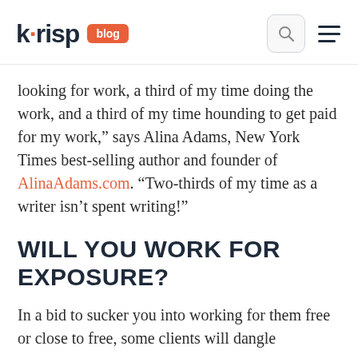krisp blog
looking for work, a third of my time doing the work, and a third of my time hounding to get paid for my work,” says Alina Adams, New York Times best-selling author and founder of AlinaAdams.com. “Two-thirds of my time as a writer isn’t spent writing!”
WILL YOU WORK FOR EXPOSURE?
In a bid to sucker you into working for them free or close to free, some clients will dangle